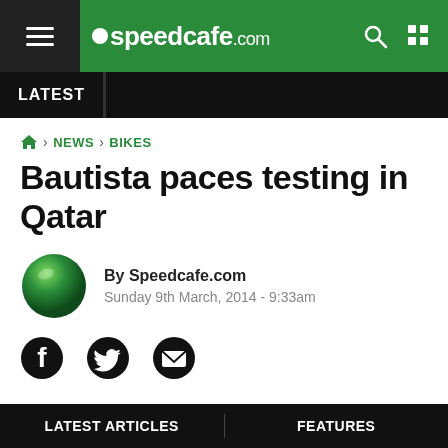speedcafe.com
LATEST
HOME > NEWS > BIKES
Bautista paces testing in Qatar
By Speedcafe.com
Sunday 9th March, 2014 - 9:33am
[Figure (illustration): Social share icons: Facebook, Twitter, Email]
LATEST ARTICLES    FEATURES